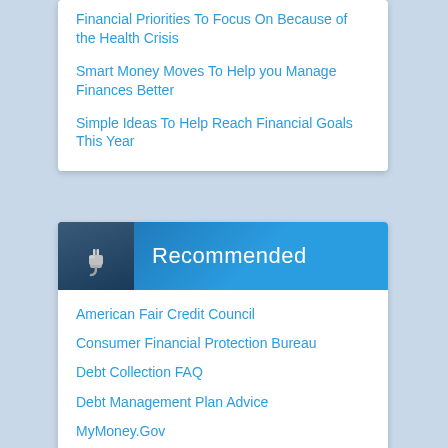Financial Priorities To Focus On Because of the Health Crisis
Smart Money Moves To Help you Manage Finances Better
Simple Ideas To Help Reach Financial Goals This Year
Recommended
American Fair Credit Council
Consumer Financial Protection Bureau
Debt Collection FAQ
Debt Management Plan Advice
MyMoney.Gov